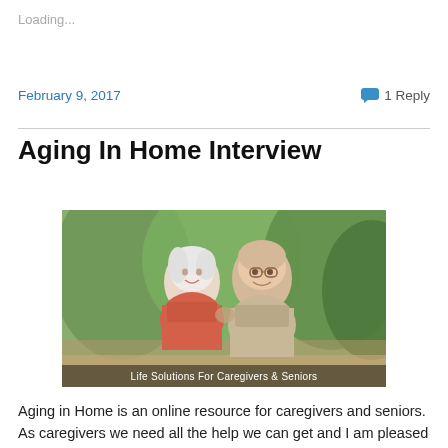Loading...
February 9, 2017
1 Reply
Aging In Home Interview
[Figure (photo): An elderly couple smiling together outdoors with greenery in the background. Text overlay reads: Life Solutions For Caregivers & Seniors]
Aging in Home is an online resource for caregivers and seniors.  As caregivers we need all the help we can get and I am pleased to have been interviewed for their site.